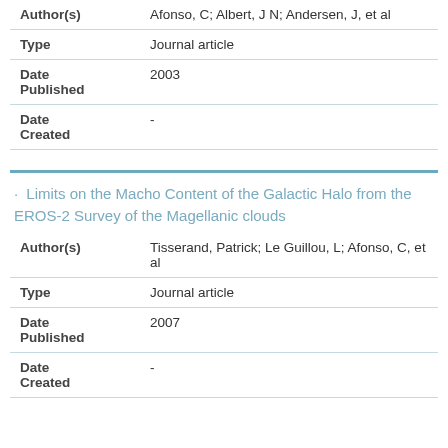| Field | Value |
| --- | --- |
| Author(s) | Afonso, C; Albert, J N; Andersen, J, et al |
| Type | Journal article |
| Date Published | 2003 |
| Date Created | - |
Limits on the Macho Content of the Galactic Halo from the EROS-2 Survey of the Magellanic clouds
| Field | Value |
| --- | --- |
| Author(s) | Tisserand, Patrick; Le Guillou, L; Afonso, C, et al |
| Type | Journal article |
| Date Published | 2007 |
| Date Created | - |